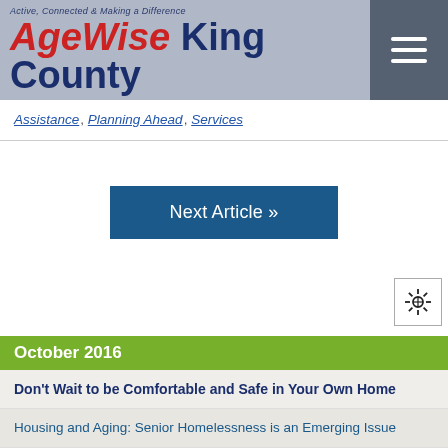AgeWise King County — Active, Connected & Making a Difference
Assistance · Planning Ahead · Services
Next Article »
October 2016
Don't Wait to be Comfortable and Safe in Your Own Home
Housing and Aging: Senior Homelessness is an Emerging Issue
Making Each Day Better and Safer for Older Adults
Seniors Training Seniors: Relaunched, Rebranded, and Repositioned
One in Eight: A Woman's Odds of Getting Breast Cancer
October Calendar
Puzzle: An Age-Friendly Community